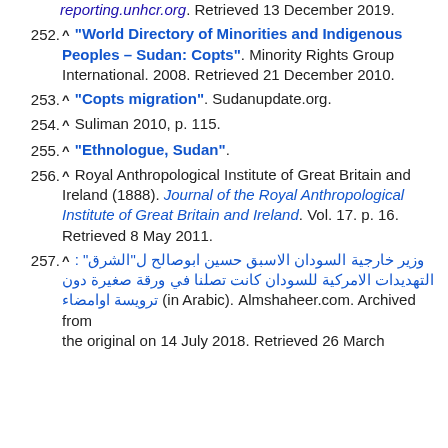reporting.unhcr.org. Retrieved 13 December 2019.
252. ^ "World Directory of Minorities and Indigenous Peoples – Sudan: Copts". Minority Rights Group International. 2008. Retrieved 21 December 2010.
253. ^ "Copts migration". Sudanupdate.org.
254. ^ Suliman 2010, p. 115.
255. ^ "Ethnologue, Sudan".
256. ^ Royal Anthropological Institute of Great Britain and Ireland (1888). Journal of the Royal Anthropological Institute of Great Britain and Ireland. Vol. 17. p. 16. Retrieved 8 May 2011.
257. ^ وزير خارجية السودان الاسبق حسين ابوصالح ل"الشرق" : التهديدات الامركية للسودان كانت تصلنا في ورقة صغيرة دون ترويسة اوامضاء (in Arabic). Almshaheer.com. Archived from the original on 14 July 2018. Retrieved 26 March